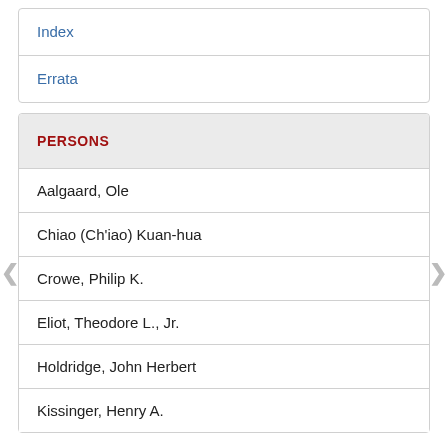Index
Errata
PERSONS
Aalgaard, Ole
Chiao (Ch'iao) Kuan-hua
Crowe, Philip K.
Eliot, Theodore L., Jr.
Holdridge, John Herbert
Kissinger, Henry A.